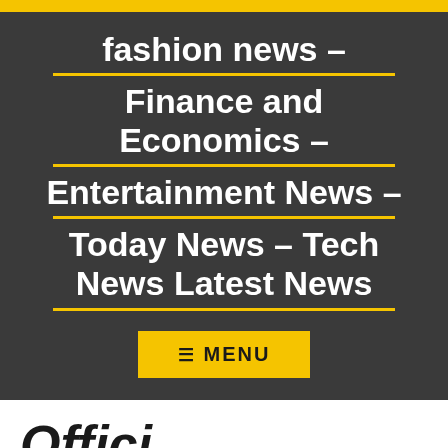fashion news – Finance and Economics – Entertainment News – Today News – Tech News Latest News
≡ MENU
Official